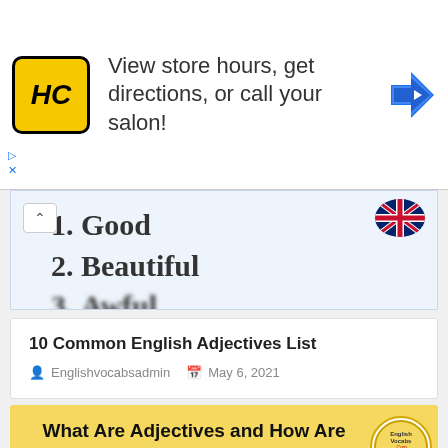[Figure (screenshot): Advertisement banner for HC salon with logo, text 'View store hours, get directions, or call your salon!' and a blue navigation arrow icon]
1. Good
2. Beautiful
3. Awful (partially visible/blurred)
10 Common English Adjectives List
Englishvocabsadmin   May 6, 2021
What Are Adjectives and How Are They Used In The Sentence?
Adjectives are words that indicate, introduce